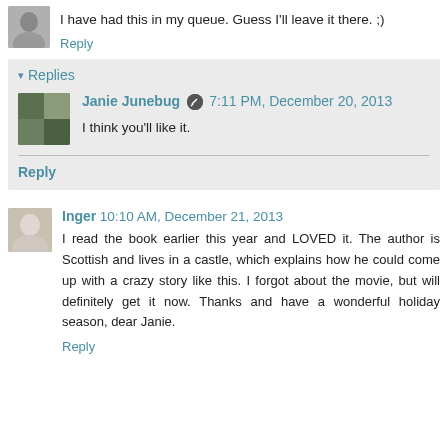I have had this in my queue. Guess I'll leave it there. ;)
Reply
Replies
Janie Junebug 7:11 PM, December 20, 2013
I think you'll like it.
Reply
Inger 10:10 AM, December 21, 2013
I read the book earlier this year and LOVED it. The author is Scottish and lives in a castle, which explains how he could come up with a crazy story like this. I forgot about the movie, but will definitely get it now. Thanks and have a wonderful holiday season, dear Janie.
Reply